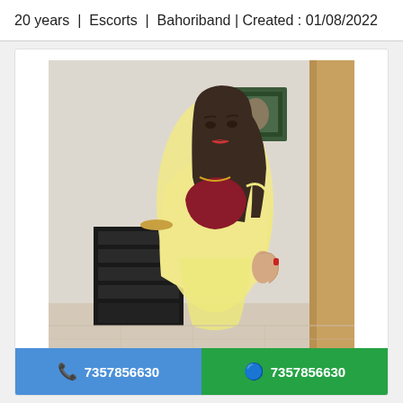20 years | Escorts | Bahoriband | Created : 01/08/2022
[Figure (photo): Young woman in yellow saree and red blouse standing indoors, long brown hair, room with dark cabinet and framed picture on wall in background]
7357856630
7357856630